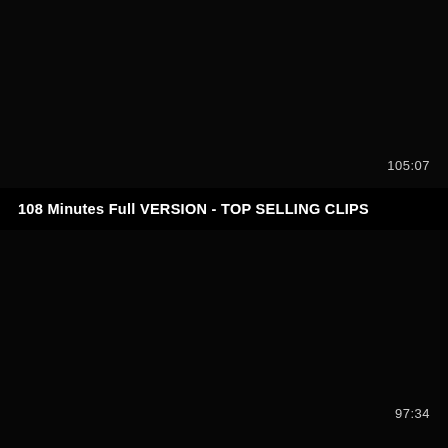[Figure (screenshot): Black video thumbnail, top panel, nearly fully dark with timestamp 105:07 in bottom-right corner]
105:07
108 Minutes Full VERSION - TOP SELLING CLIPS
[Figure (screenshot): Black video thumbnail, bottom panel, nearly fully dark with timestamp 97:34 in bottom-right corner]
97:34